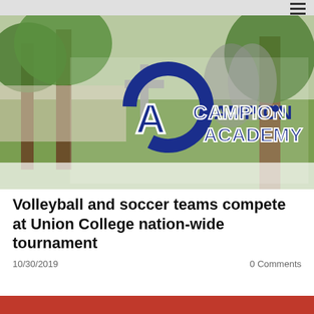[Figure (photo): Campion Academy school website hero banner with logo overlay. Background shows outdoor campus scene with trees and two students. Logo features large CA monogram in blue with white outline, a grey cross, and text reading 'CAMPION ACADEMY' with a paw print icon.]
Volleyball and soccer teams compete at Union College nation-wide tournament
10/30/2019   0 Comments
[Figure (photo): Partial red banner/strip visible at bottom of page.]